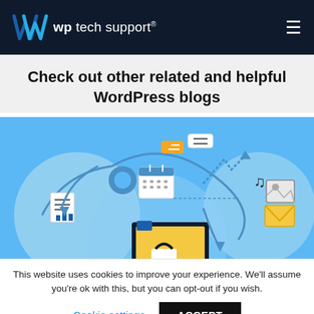wp tech support®
Check out other related and helpful WordPress blogs
[Figure (illustration): A digital flat illustration showing WordPress/web management icons including a calendar, gear, documents, bar charts, cloud, lock, music notes, email envelope, and arrows on a blue background.]
This website uses cookies to improve your experience. We'll assume you're ok with this, but you can opt-out if you wish.
Cookie settings   ACCEPT